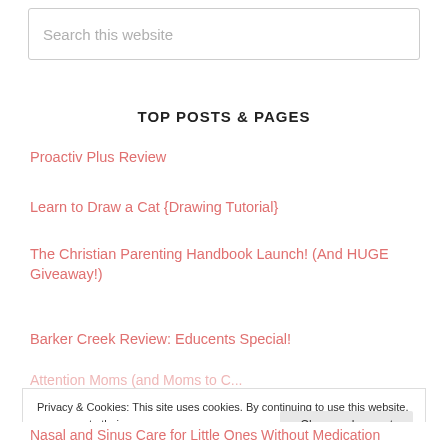Search this website
TOP POSTS & PAGES
Proactiv Plus Review
Learn to Draw a Cat {Drawing Tutorial}
The Christian Parenting Handbook Launch! (And HUGE Giveaway!)
Barker Creek Review: Educents Special!
Nasal and Sinus Care for Little Ones Without Medication
Privacy & Cookies: This site uses cookies. By continuing to use this website, you agree to their use. To find out more, including how to control cookies, see here: Cookie Policy
Close and accept